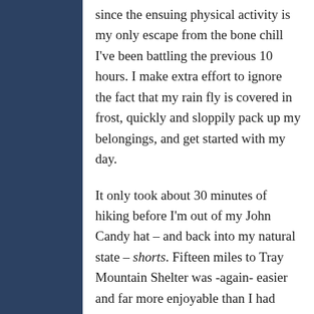since the ensuing physical activity is my only escape from the bone chill I've been battling the previous 10 hours. I make extra effort to ignore the fact that my rain fly is covered in frost, quickly and sloppily pack up my belongings, and get started with my day.
It only took about 30 minutes of hiking before I'm out of my John Candy hat – and back into my natural state – shorts. Fifteen miles to Tray Mountain Shelter was -again- easier and far more enjoyable than I had imagined.